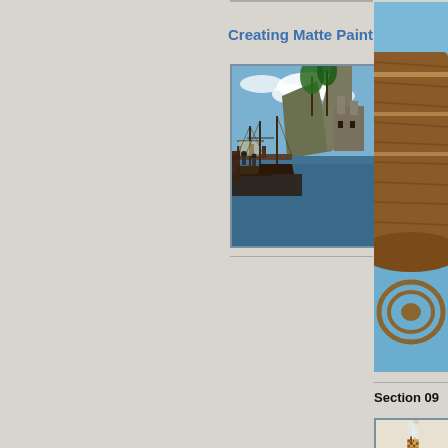Creating Matte Paintings
[Figure (photo): Matte painting of a pirate harbor scene with tall sailing ships docked at a dock, tropical trees, rocky cliffs and a castle in the background under a partly cloudy sky.]
[Figure (photo): Close-up of a wooden sailing ship model (galleon) with rigging ropes and sails, against a blue sky background — right column partial image.]
Section 09
[Figure (photo): 3D rendered chess pieces (dark king and light pieces) standing on a wooden chessboard with a transparent glass panel in the background, partially cut off on the right side.]